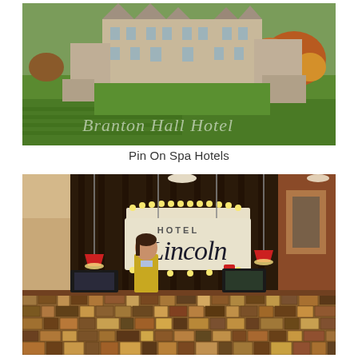[Figure (photo): Aerial photograph of Branton Hall Hotel, a large stone manor house surrounded by green lawns, trees with autumn foliage, and agricultural fields. The text 'Branton Hall Hotel' is overlaid in white script at the bottom of the image.]
Pin On Spa Hotels
[Figure (photo): Interior photograph of Hotel Lincoln lobby/reception desk. A woman in a yellow jacket stands behind a rustic wooden reception counter made of drawers. Above the counter hangs an illuminated 'Hotel Lincoln' sign with lightbulbs. Dark curtains and decorative artwork are visible in the background. Red pendant lamps hang from the ceiling.]